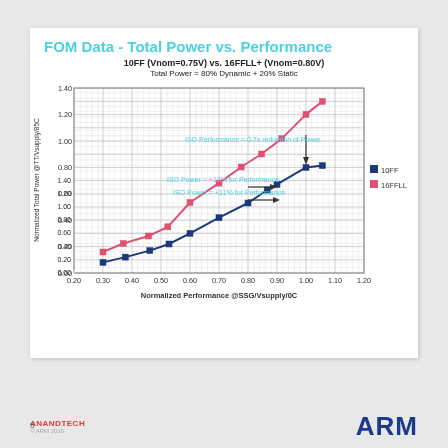FOM Data - Total Power vs. Performance
10FF (Vnom=0.75V) vs. 16FFLL+ (Vnom=0.80V)
Total Power = 80% Dynamic + 20% Static
[Figure (continuous-plot): Line chart showing Normalized Total Power @TT/Vsupply/85C vs Normalized Performance @SSG/Vsupply/0C for two process nodes: 10FF (dark blue squares) and 16FFLL (pink/red squares). Both curves are exponential-like, starting around x=0.30 and going to x=1.05-1.07. Annotations indicate: ISO Performance = 0.7x reduction of Power (with downward arrow at x~1.00-1.05), ISO Power = +11% for Performance, ISO Power = +12% for Performance (with rightward arrows). Y-axis ranges from 0.00 to 1.40. X-axis ranges from 0.20 to 1.20. Legend: 10FF (dark blue), 16FFLL (pink-red).]
ANANDTECH © ARM 2016   5   ARM